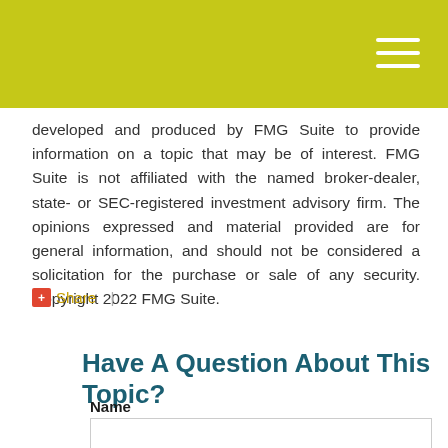developed and produced by FMG Suite to provide information on a topic that may be of interest. FMG Suite is not affiliated with the named broker-dealer, state- or SEC-registered investment advisory firm. The opinions expressed and material provided are for general information, and should not be considered a solicitation for the purchase or sale of any security. Copyright 2022 FMG Suite.
+ Share |
Have A Question About This Topic?
Name
Email